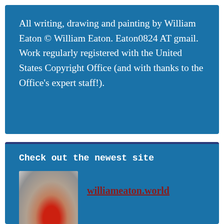All writing, drawing and painting by William Eaton © William Eaton. Eaton0824 AT gmail. Work regularly registered with the United States Copyright Office (and with thanks to the Office's expert staff!).
Check out the newest site
[Figure (photo): Thumbnail image of artwork with grey and red tones]
williameaton.world